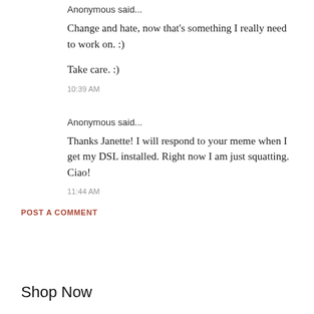Anonymous said...
Change and hate, now that's something I really need to work on. :)
Take care. :)
10:39 AM
Anonymous said...
Thanks Janette! I will respond to your meme when I get my DSL installed. Right now I am just squatting. Ciao!
11:44 AM
POST A COMMENT
Shop Now